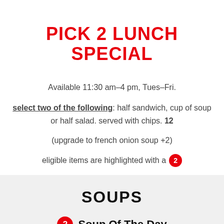PICK 2 LUNCH SPECIAL
Available 11:30 am–4 pm, Tues–Fri.
select two of the following: half sandwich, cup of soup or half salad. served with chips. 12
(upgrade to french onion soup +2)
eligible items are highlighted with a [2 badge]
SOUPS
Soup Of The Day